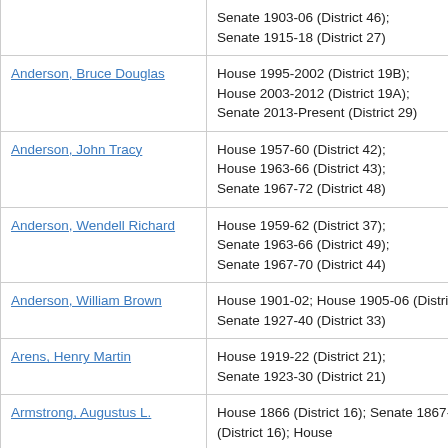| Name | Service |
| --- | --- |
|  | Senate 1903-06 (District 46); Senate 1915-18 (District 27) |
| Anderson, Bruce Douglas | House 1995-2002 (District 19B); House 2003-2012 (District 19A); Senate 2013-Present (District 29) |
| Anderson, John Tracy | House 1957-60 (District 42); House 1963-66 (District 43); Senate 1967-72 (District 48) |
| Anderson, Wendell Richard | House 1959-62 (District 37); Senate 1963-66 (District 49); Senate 1967-70 (District 44) |
| Anderson, William Brown | House 1901-02; House 1905-06 (District 2); Senate 1927-40 (District 33) |
| Arens, Henry Martin | House 1919-22 (District 21); Senate 1923-30 (District 21) |
| Armstrong, Augustus L. | House 1866 (District 16); Senate 1867-68 (District 16); House (continued) |